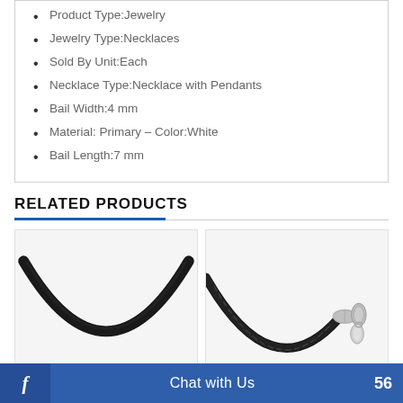Product Type:Jewelry
Jewelry Type:Necklaces
Sold By Unit:Each
Necklace Type:Necklace with Pendants
Bail Width:4 mm
Material: Primary – Color:White
Bail Length:7 mm
RELATED PRODUCTS
[Figure (photo): Black leather necklace cord, curved, close-up view on white background]
[Figure (photo): Black braided leather necklace cord with silver clasp and small oval tag, close-up view]
Chat with Us  56